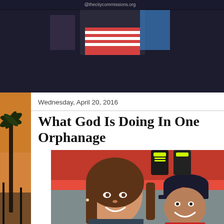[Figure (photo): Top banner photo showing a person in a striped shirt with a colorful background, dark background]
[Figure (photo): Sidebar image with palm trees and sunset/orange sky background]
Wednesday, April 20, 2016
What God Is Doing In One Orphanage
[Figure (photo): Photo of a smiling young woman with long brown hair and a smiling boy wearing a baseball cap, against a red and grey wall background]